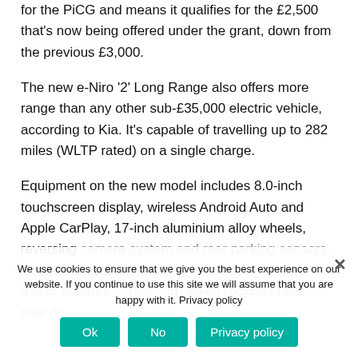for the PiCG and means it qualifies for the £2,500 that's now being offered under the grant, down from the previous £3,000.
The new e-Niro '2' Long Range also offers more range than any other sub-£35,000 electric vehicle, according to Kia. It's capable of travelling up to 282 miles (WLTP rated) on a single charge.
Equipment on the new model includes 8.0-inch touchscreen display, wireless Android Auto and Apple CarPlay, 17-inch aluminium alloy wheels, reversing camera system and rear parking sensors, Smart Cruise Control... It also features... which recycles heat ... minimise dri...
We use cookies to ensure that we give you the best experience on our website. If you continue to use this site we will assume that you are happy with it. Privacy policy